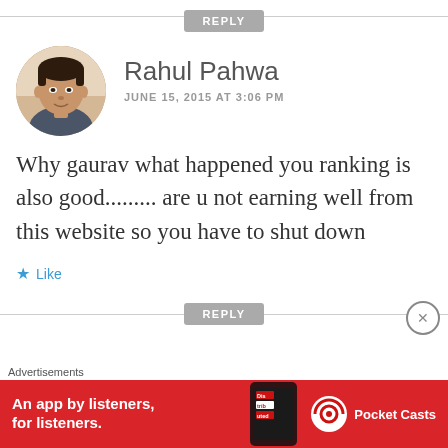REPLY
[Figure (photo): Circular avatar photo of a young man with short dark hair wearing a dark gray t-shirt]
Rahul Pahwa
JUNE 15, 2015 AT 3:06 PM
Why gaurav what happened you ranking is also good......... are u not earning well from this website so you have to shut down
★ Like
REPLY
Advertisements
[Figure (infographic): Red advertisement banner for Pocket Casts app showing a phone with 'Distributed' text and Pocket Casts logo, with text 'An app by listeners, for listeners.']